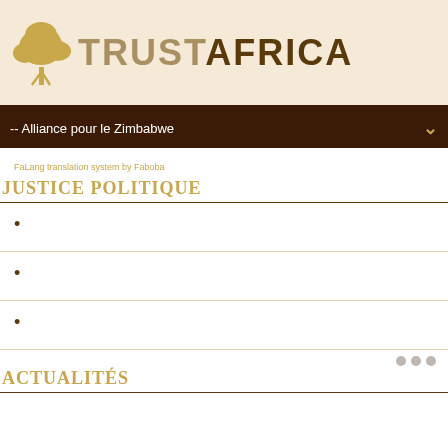[Figure (logo): TrustAfrica logo with golden tree icon and text 'TRUSTAFRICA' on a cream/beige background]
-- Alliance pour le Zimbabwe
FaLang translation system by Faboba
JUSTICE POLITIQUE
ACTUALITÉS